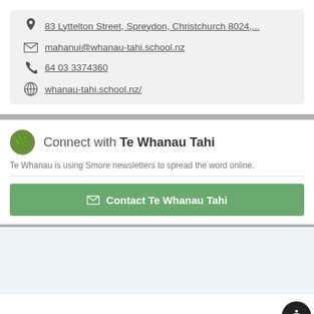83 Lyttelton Street, Spreydon, Christchurch 8024,...
mahanui@whanau-tahi.school.nz
64 03 3374360
whanau-tahi.school.nz/
Connect with Te Whanau Tahi
Te Whanau is using Smore newsletters to spread the word online.
Contact Te Whanau Tahi
Powered by S...e